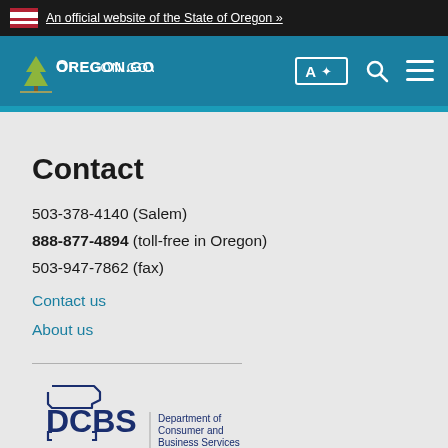An official website of the State of Oregon »
[Figure (logo): Oregon.gov header logo with teal navigation bar, translate button, search icon, and menu icon]
Contact
503-378-4140 (Salem)
888-877-4894 (toll-free in Oregon)
503-947-7862 (fax)
Contact us
About us
[Figure (logo): DCBS - Department of Consumer and Business Services logo with Oregon state outline]
About Oregon